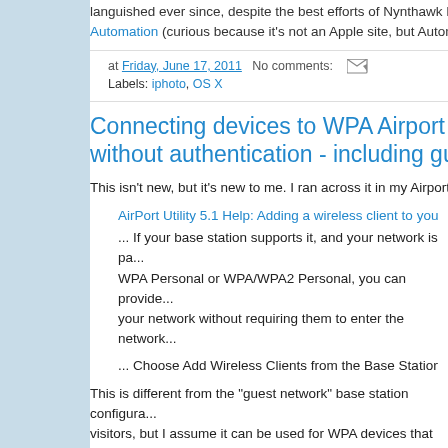languished ever since, despite the best efforts of Nynthawk Pro... Automation (curious because it's not an Apple site, but Automat...
at Friday, June 17, 2011   No comments:
Labels: iphoto, OS X
Connecting devices to WPA Airport Ex... without authentication - including gues...
This isn't new, but it's new to me. I ran across it in my Airport Ex...
AirPort Utility 5.1 Help: Adding a wireless client to your 8...
... If your base station supports it, and your network is pa... WPA Personal or WPA/WPA2 Personal, you can provide... your network without requiring them to enter the network...
... Choose Add Wireless Clients from the Base Station m...
This is different from the "guest network" base station configura... visitors, but I assume it can be used for WPA devices that don't... exist?).
It works by creating a hole in network security -- a device is allo...